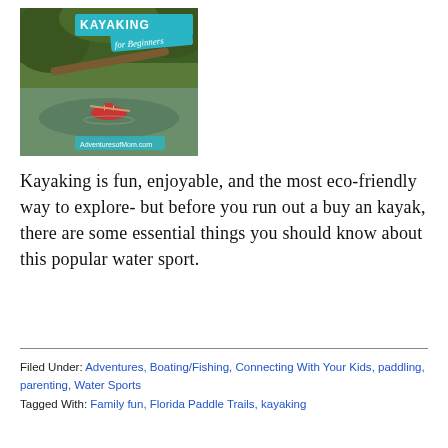[Figure (photo): Book cover or blog image for 'Kayaking for Beginners' showing a kayaker paddling through a green, tree-lined waterway. Text overlay reads 'KAYAKING for Beginners' and 'AdventuresofMom.com' at the bottom.]
Kayaking is fun, enjoyable, and the most eco-friendly way to explore- but before you run out a buy an kayak, there are some essential things you should know about this popular water sport.
Filed Under: Adventures, Boating/Fishing, Connecting With Your Kids, paddling, parenting, Water Sports
Tagged With: Family fun, Florida Paddle Trails, kayaking